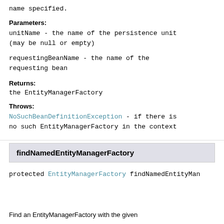name specified.
Parameters:
unitName - the name of the persistence unit (may be null or empty)
requestingBeanName - the name of the requesting bean
Returns:
the EntityManagerFactory
Throws:
NoSuchBeanDefinitionException - if there is no such EntityManagerFactory in the context
findNamedEntityManagerFactory
protected EntityManagerFactory findNamedEntityMan...
Find an EntityManagerFactory with the given